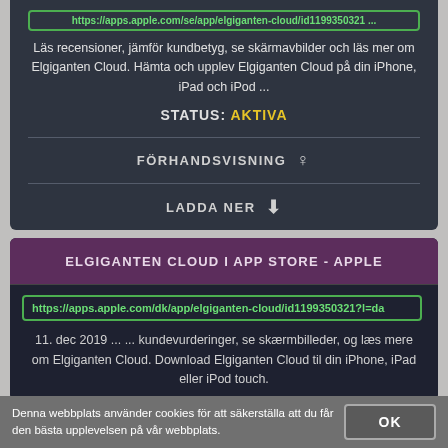https://apps.apple.com/se/app/elgiganten-cloud/...
Läs recensioner, jämför kundbetyg, se skärmavbilder och läs mer om Elgiganten Cloud. Hämta och upplev Elgiganten Cloud på din iPhone, iPad och iPod ...
STATUS: AKTIVA
FÖRHANDSVISNING 👁
LADDA NER ⬇
ELGIGANTEN CLOUD I APP STORE - APPLE
https://apps.apple.com/dk/app/elgiganten-cloud/id1199350321?l=da
11. dec 2019 ... ... kundevurderinger, se skærmbilleder, og læs mere om Elgiganten Cloud. Download Elgiganten Cloud til din iPhone, iPad eller iPod touch.
Denna webbplats använder cookies för att säkerställa att du får den bästa upplevelsen på vår webbplats.